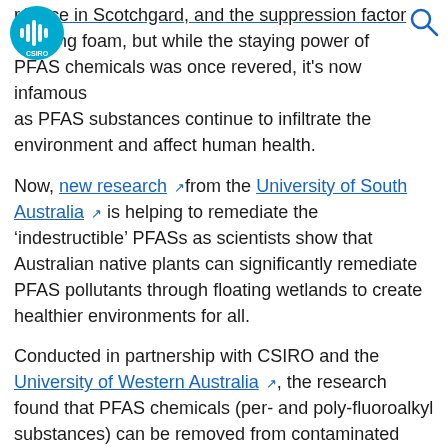[Figure (logo): CSIRO circular logo with soundwave/bar chart icon in teal/blue]
[Figure (other): Search magnifying glass icon, top right]
ŕé́ance in Scotchgard, and the suppression factor í ́ighting foam, but while the staying̅ power of PFAS chemicals was once revered, it’s now infamous as PFAS substances continue to infiltrate the environment and affect human health.
Now, new research from the University of South Australia is helping to remediate the ‘indestructible’ PFASs as scientists show that Australian native plants can significantly remediate PFAS pollutants through floating wetlands to create healthier environments for all.
Conducted in partnership with CSIRO and the University of Western Australia, the research found that PFAS chemicals (per- and poly-fluoroalkyl substances) can be removed from contaminated water via Australian native rushes - Phragmites australis, Baumea articulata, and Juncus kraussii.